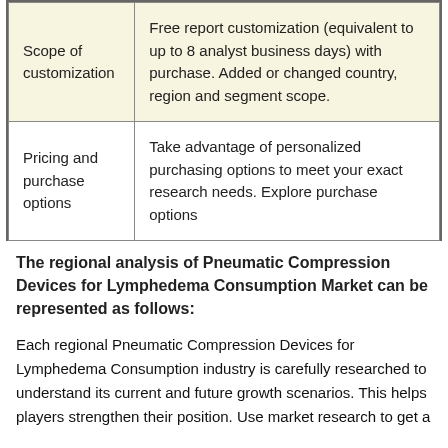| Scope of customization | Free report customization (equivalent to up to 8 analyst business days) with purchase. Added or changed country, region and segment scope. |
| Pricing and purchase options | Take advantage of personalized purchasing options to meet your exact research needs. Explore purchase options |
The regional analysis of Pneumatic Compression Devices for Lymphedema Consumption Market can be represented as follows:
Each regional Pneumatic Compression Devices for Lymphedema Consumption industry is carefully researched to understand its current and future growth scenarios. This helps players strengthen their position. Use market research to get a